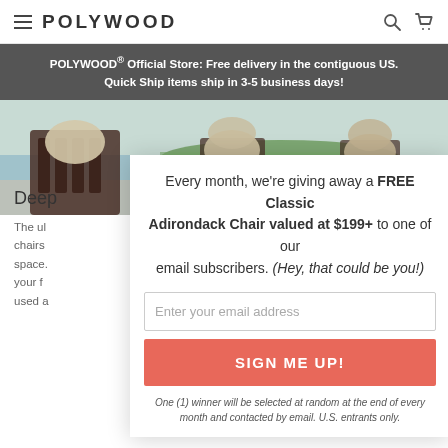POLYWOOD
POLYWOOD® Official Store: Free delivery in the contiguous US. Quick Ship items ship in 3-5 business days!
[Figure (photo): Outdoor patio scene with chairs and cushions near a waterfront, with green lawn and water in the background]
Every month, we're giving away a FREE Classic Adirondack Chair valued at $199+ to one of our email subscribers. (Hey, that could be you!)
Enter your email address
SIGN ME UP!
One (1) winner will be selected at random at the end of every month and contacted by email. U.S. entrants only.
Deep
The ul chairs space. your f used a